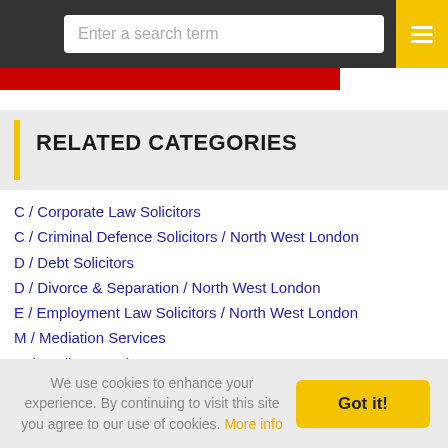Enter a search term
RELATED CATEGORIES
C / Corporate Law Solicitors
C / Criminal Defence Solicitors / North West London
D / Debt Solicitors
D / Divorce & Separation / North West London
E / Employment Law Solicitors / North West London
M / Mediation Services
M / Medico-Legal
P / Personal Injury Solicitors / North West London
P / Probate
P / Professional Negligence Solicitors
We use cookies to enhance your experience. By continuing to visit this site you agree to our use of cookies. More info